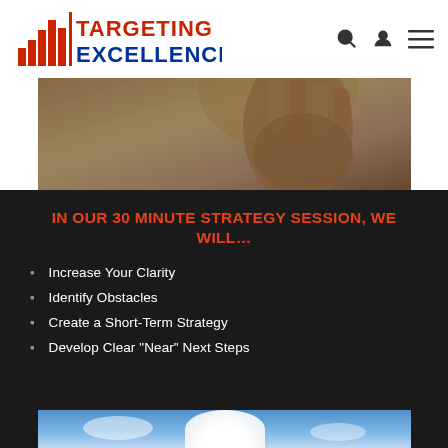Targeting Excellence
[Figure (photo): Close-up of a raised hand with palm facing outward, sepia/warm tones]
IN OUR 30 MINUTE STRATEGY SESSION, WE WILL…
Increase Your Clarity
Identify Obstacles
Create a Short-Term Strategy
Develop Clear "Near" Next Steps
[Figure (photo): Life preserver ring with red and white colors against a blue sky background]